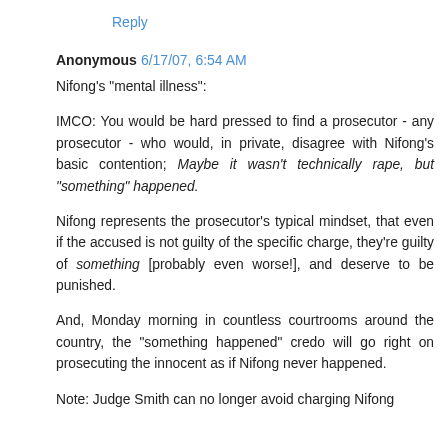Reply
Anonymous 6/17/07, 6:54 AM
Nifong's "mental illness":
IMCO: You would be hard pressed to find a prosecutor - any prosecutor - who would, in private, disagree with Nifong's basic contention; Maybe it wasn't technically rape, but "something" happened.
Nifong represents the prosecutor's typical mindset, that even if the accused is not guilty of the specific charge, they're guilty of something [probably even worse!], and deserve to be punished.
And, Monday morning in countless courtrooms around the country, the "something happened" credo will go right on prosecuting the innocent as if Nifong never happened.
Note: Judge Smith can no longer avoid charging Nifong